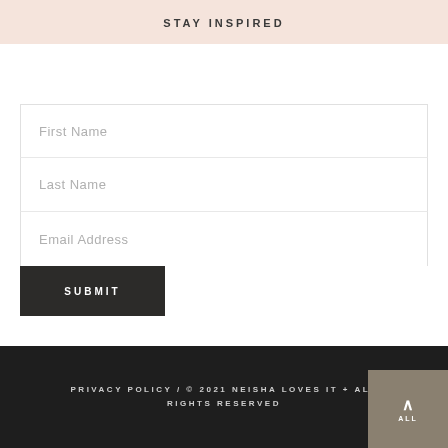STAY INSPIRED
First Name
Last Name
Email Address
SUBMIT
PRIVACY POLICY / © 2021 NEISHA LOVES IT + ALL RIGHTS RESERVED